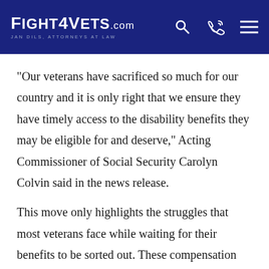Fight4Vets.com — Jan Dils, Attorneys at Law
“Our veterans have sacrificed so much for our country and it is only right that we ensure they have timely access to the disability benefits they may be eligible for and deserve,” Acting Commissioner of Social Security Carolyn Colvin said in the news release.
This move only highlights the struggles that most veterans face while waiting for their benefits to be sorted out. These compensation packages are their only hope to get what’s due to them for the service they rendered for the country. Faster processing can greatly improve a lot of these veterans’ conditions, especially when it comes to their physical and mental